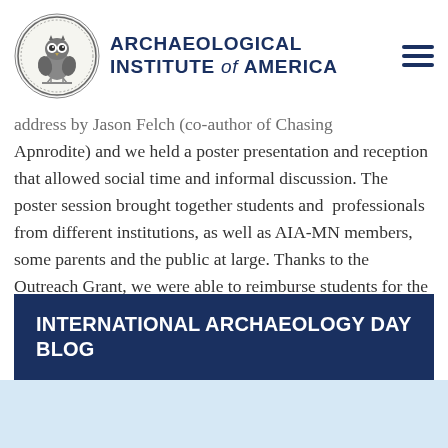Archaeological Institute of America
address by Jason Felch (co-author of Chasing Apnrodite) and we held a poster presentation and reception that allowed social time and informal discussion. The poster session brought together students and  professionals from different institutions, as well as AIA-MN members, some parents and the public at large. Thanks to the Outreach Grant, we were able to reimburse students for the costs of poster printing and serve refreshments at this event, which encouraged mingling and conversation. By coordinating with St Thomas's Graduate Student Research Symposium, we had a much wider audience than in previous years.
INTERNATIONAL ARCHAEOLOGY DAY BLOG